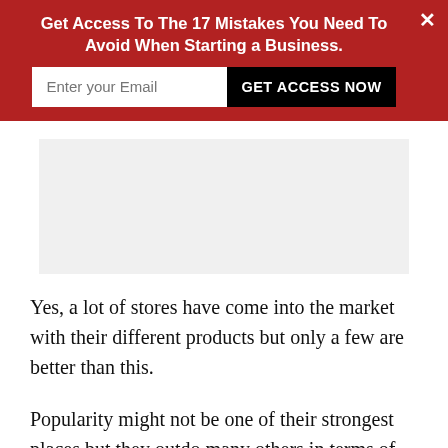Get Access To The 17 Mistakes You Need To Avoid When Starting a Business.
[Figure (screenshot): Gray advertisement placeholder block]
Yes, a lot of stores have come into the market with their different products but only a few are better than this.
Popularity might not be one of their strongest places but they outdo many others in terms of quality.